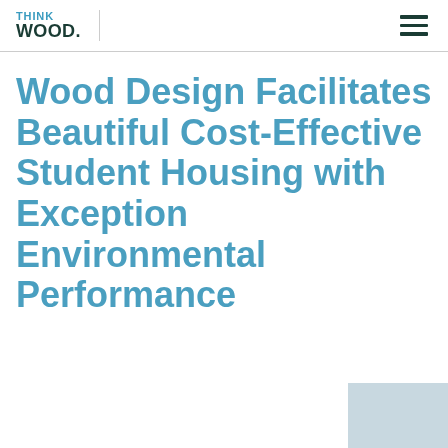THINK WOOD.
Wood Design Facilitates Beautiful Cost-Effective Student Housing with Exception Environmental Performance